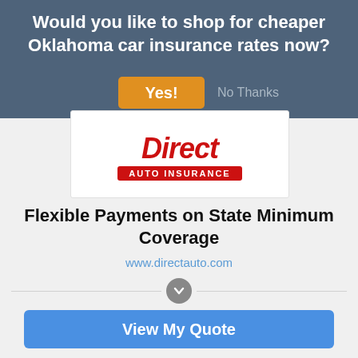Would you like to shop for cheaper Oklahoma car insurance rates now?
Yes!
No Thanks
[Figure (logo): Direct Auto Insurance logo with red italic 'Direct' text and red banner reading 'AUTO INSURANCE']
Flexible Payments on State Minimum Coverage
www.directauto.com
View My Quote
COMPARE RATES